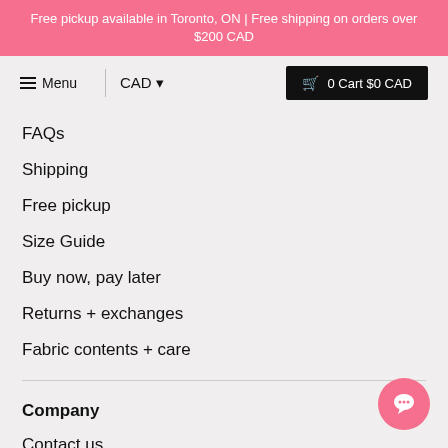Free pickup available in Toronto, ON | Free shipping on orders over $200 CAD
Menu | CAD | 0 Cart $0 CAD
FAQs
Shipping
Free pickup
Size Guide
Buy now, pay later
Returns + exchanges
Fabric contents + care
Company
Contact us
Our Story
Our Values
Blog